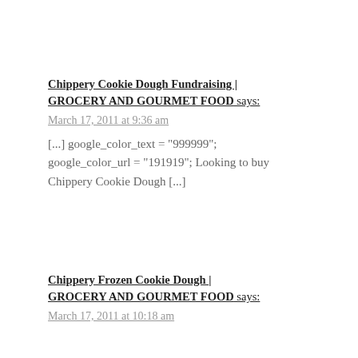Chippery Cookie Dough Fundraising | GROCERY AND GOURMET FOOD says:
March 17, 2011 at 9:36 am
[...] google_color_text = "999999"; google_color_url = "191919"; Looking to buy Chippery Cookie Dough [...]
Chippery Frozen Cookie Dough | GROCERY AND GOURMET FOOD says:
March 17, 2011 at 10:18 am